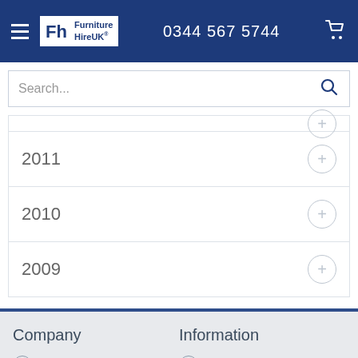Furniture Hire UK — 0344 567 5744
[Figure (screenshot): Search bar with placeholder text 'Search...' and a magnifying glass icon]
2011
2010
2009
Company | Home | Information | Seating Planner